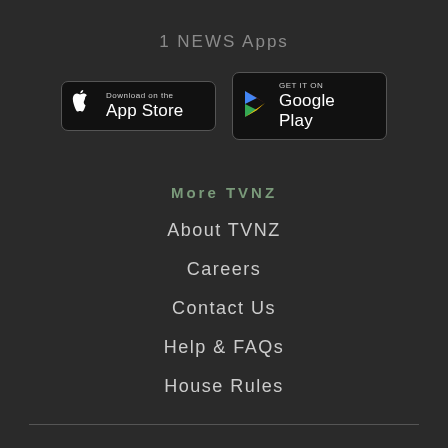1 NEWS Apps
[Figure (logo): App Store download button (black rounded rectangle with Apple logo and 'Download on the App Store' text)]
[Figure (logo): Google Play download button (black rounded rectangle with Google Play triangle logo and 'GET IT ON Google Play' text)]
More TVNZ
About TVNZ
Careers
Contact Us
Help & FAQs
House Rules
© TVNZ 2022